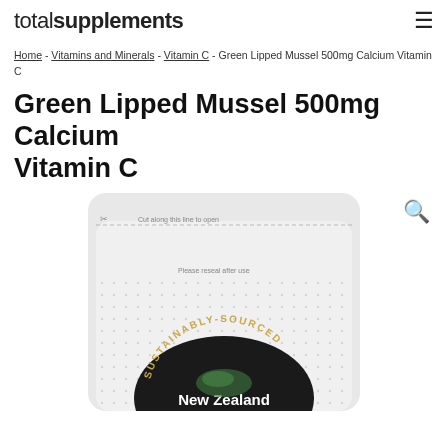totalsupplements
Home - Vitamins and Minerals - Vitamin C - Green Lipped Mussel 500mg Calcium Vitamin C
Green Lipped Mussel 500mg Calcium Vitamin C
[Figure (photo): Product photo of a supplement pouch with 'SUSTAINABLY-SOURCED New Zealand' circular badge and dotted pattern. Text on pouch reads 'Cut along this line to open' and 'Please reseal after use'. A magnify/search icon appears top-right of the image.]